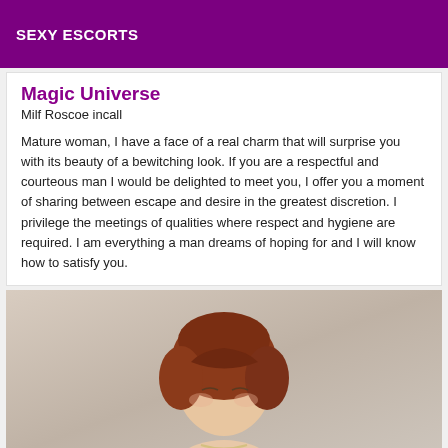SEXY ESCORTS
Magic Universe
Milf Roscoe incall
Mature woman, I have a face of a real charm that will surprise you with its beauty of a bewitching look. If you are a respectful and courteous man I would be delighted to meet you, I offer you a moment of sharing between escape and desire in the greatest discretion. I privilege the meetings of qualities where respect and hygiene are required. I am everything a man dreams of hoping for and I will know how to satisfy you.
[Figure (photo): A woman with short red/auburn hair in an updo style, looking downward, photographed against a light grey background.]